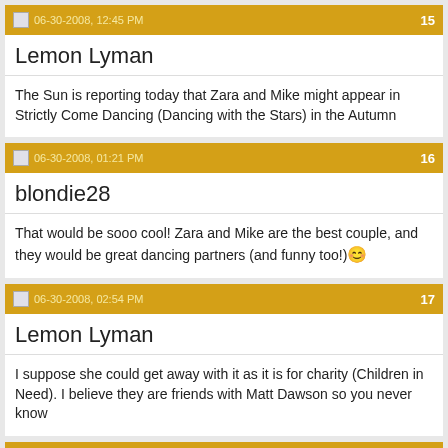06-30-2008, 12:45 PM | 15
Lemon Lyman
The Sun is reporting today that Zara and Mike might appear in Strictly Come Dancing (Dancing with the Stars) in the Autumn
06-30-2008, 01:21 PM | 16
blondie28
That would be sooo cool! Zara and Mike are the best couple, and they would be great dancing partners (and funny too!) 😊
06-30-2008, 02:54 PM | 17
Lemon Lyman
I suppose she could get away with it as it is for charity (Children in Need). I believe they are friends with Matt Dawson so you never know
07-04-2008, 05:06 PM | 18